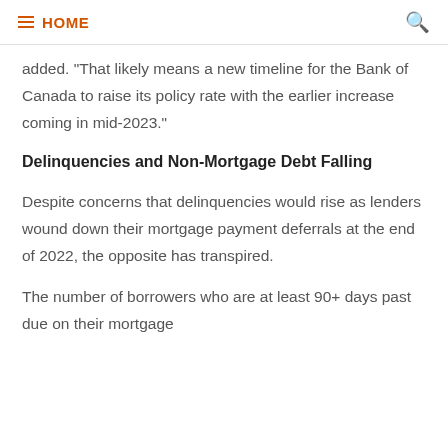HOME
added. "That likely means a new timeline for the Bank of Canada to raise its policy rate with the earlier increase coming in mid-2023."
Delinquencies and Non-Mortgage Debt Falling
Despite concerns that delinquencies would rise as lenders wound down their mortgage payment deferrals at the end of 2022, the opposite has transpired.
The number of borrowers who are at least 90+ days past due on their mortgage